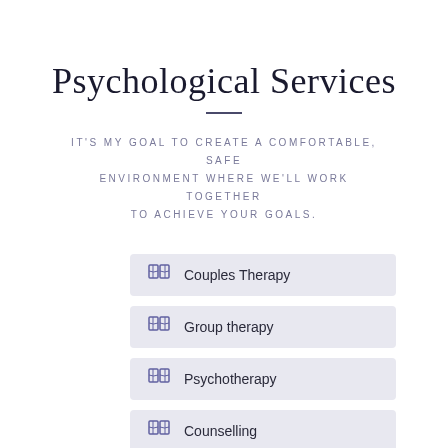Psychological Services
IT'S MY GOAL TO CREATE A COMFORTABLE, SAFE ENVIRONMENT WHERE WE'LL WORK TOGETHER TO ACHIEVE YOUR GOALS.
Couples Therapy
Group therapy
Psychotherapy
Counselling
Personal Therapy